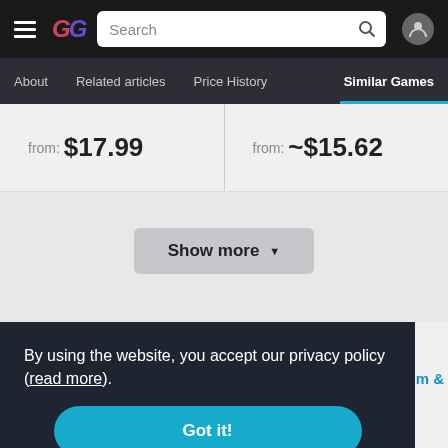GG — Search bar — User icon
About | Related articles | Price History | Similar Games
from: $17.99
from: ~$15.62
Show more ▼
By using the website, you accept our privacy policy (read more).
Got it!
um &
COMMUNITY